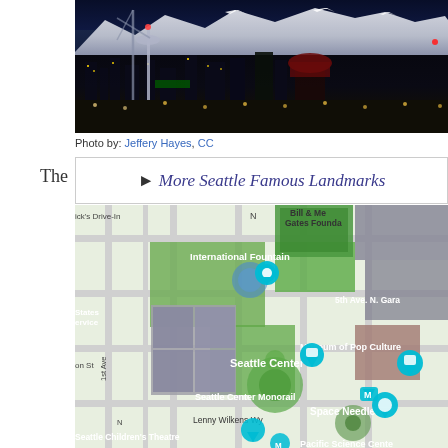[Figure (photo): Nighttime aerial/skyline photo of Seattle showing the Space Needle and city lights with mountains in the background]
Photo by: Jeffery Hayes, CC
The
▶ More Seattle Famous Landmarks
[Figure (map): Google Maps satellite view of Seattle Center area showing International Fountain, Space Needle, Museum of Pop Culture, Seattle Center Monorail, Seattle Children's Theatre, Pacific Science Center, and Bill & Melinda Gates Foundation]